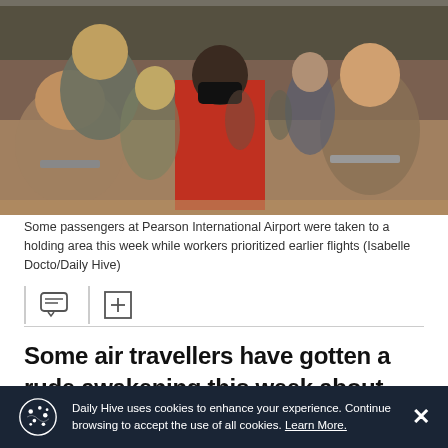[Figure (photo): Crowded airport waiting area with passengers seated, some wearing masks. A man in a red jacket with a black mask and earbuds is visible in the center foreground.]
Some passengers at Pearson International Airport were taken to a holding area this week while workers prioritized earlier flights (Isabelle Docto/Daily Hive)
Some air travellers have gotten a rude awakening this week about what airport lineups look like as travel picks up post-pandemic.
ADVERTISEMENT
Daily Hive uses cookies to enhance your experience. Continue browsing to accept the use of all cookies. Learn More.